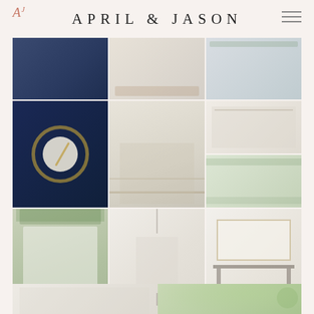April & Jason
[Figure (photo): Wedding reception decor photo grid: 9 photos arranged in 3 rows of 3. Row 1: navy tablecloth dining table, white bright reception hall, white place settings with greenery. Row 2: navy and gold plate setting close-up, long farm tables with cross-back chairs, bar/beverage station with shelving. Row 3: greenery-adorned seating chart display board, ceremony hall entrance with doors, entry console table with wooden crates and framed sign.]
[Figure (photo): Partial bottom photos: left shows white chairs/reception interior, right shows eucalyptus greenery close-up.]